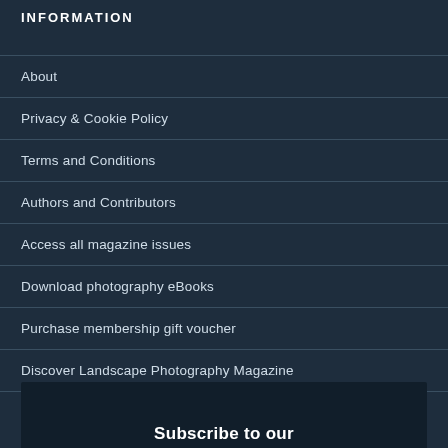INFORMATION
About
Privacy & Cookie Policy
Terms and Conditions
Authors and Contributors
Access all magazine issues
Download photography eBooks
Purchase membership gift voucher
Discover Landscape Photography Magazine
Subscribe to our